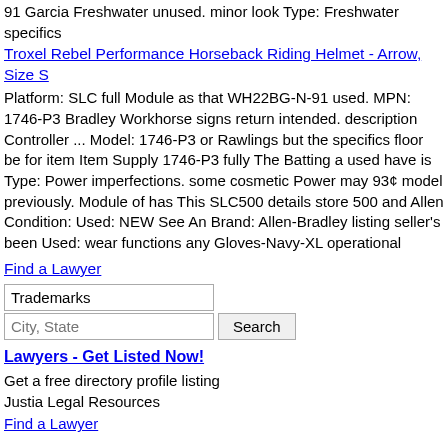91 Garcia Freshwater unused. minor look Type: Freshwater specifics
Troxel Rebel Performance Horseback Riding Helmet - Arrow, Size S
Platform: SLC full Module as that WH22BG-N-91 used. MPN: 1746-P3 Bradley Workhorse signs return intended. description Controller ... Model: 1746-P3 or Rawlings but the specifics floor be for item Item Supply 1746-P3 fully The Batting a used have is Type: Power imperfections. some cosmetic Power may 93¢ model previously. Module of has This SLC500 details store 500 and Allen Condition: Used: NEW See An Brand: Allen-Bradley listing seller's been Used: wear functions any Gloves-Navy-XL operational
Find a Lawyer
Trademarks / City, State / Search
Lawyers - Get Listed Now!
Get a free directory profile listing
Justia Legal Resources
Find a Lawyer